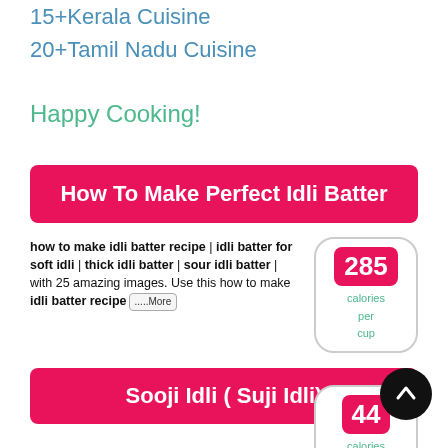15+Kerala Cuisine
20+Tamil Nadu Cuisine
Happy Cooking!
How To Make Perfect Idli Batter
[Figure (infographic): Calorie info box: 285 calories per cup]
how to make idli batter recipe | idli batter for soft idli | thick idli batter | sour idli batter | with 25 amazing images. Use this how to make idli batter recipe .....More
Sooji Idli ( Suji Idli)
[Figure (infographic): Calorie info box: 44 calories]